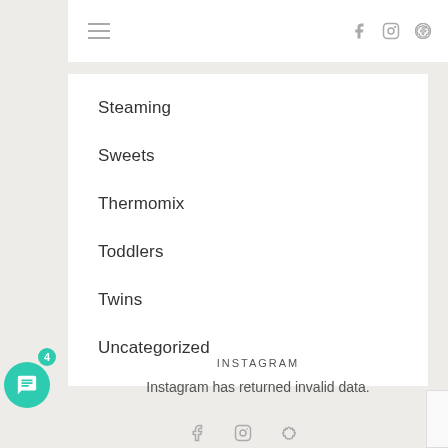Navigation bar with hamburger menu and social icons (facebook, instagram, pinterest)
Steaming
Sweets
Thermomix
Toddlers
Twins
Uncategorized
INSTAGRAM
Instagram has returned invalid data.
Footer with facebook, instagram, pinterest icons